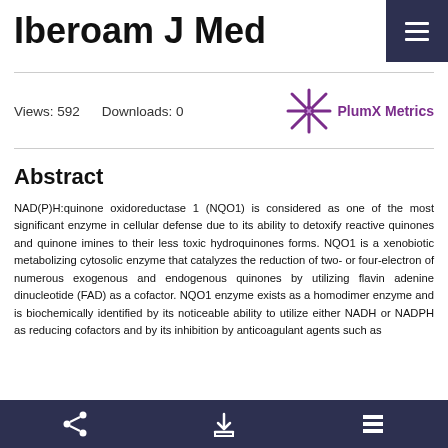Iberoam J Med
Views: 592    Downloads: 0
[Figure (logo): PlumX Metrics logo with asterisk/star symbol in purple and text 'PlumX Metrics']
Abstract
NAD(P)H:quinone oxidoreductase 1 (NQO1) is considered as one of the most significant enzyme in cellular defense due to its ability to detoxify reactive quinones and quinone imines to their less toxic hydroquinones forms. NQO1 is a xenobiotic metabolizing cytosolic enzyme that catalyzes the reduction of two- or four-electron of numerous exogenous and endogenous quinones by utilizing flavin adenine dinucleotide (FAD) as a cofactor. NQO1 enzyme exists as a homodimer enzyme and is biochemically identified by its noticeable ability to utilize either NADH or NADPH as reducing cofactors and by its inhibition by anticoagulant agents such as
share / download / list icons